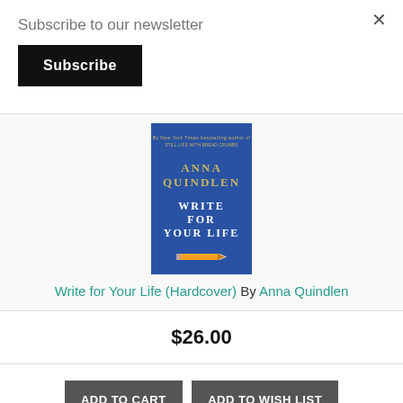Subscribe to our newsletter
Subscribe
[Figure (illustration): Book cover of 'Write for Your Life' by Anna Quindlen — blue background with gold text and a pencil illustration]
Write for Your Life (Hardcover) By Anna Quindlen
$26.00
ADD TO CART
ADD TO WISH LIST
Not in Stock... Available to ship in 3-5 days